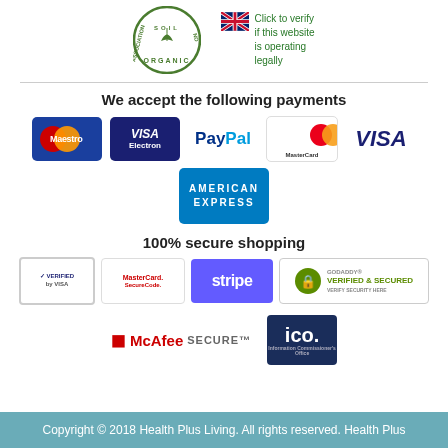[Figure (logo): Soil Association Organic logo (circular green badge) and UK flag with 'Click to verify if this website is operating legally' green text]
We accept the following payments
[Figure (logo): Payment method logos: Maestro, Visa Electron, PayPal, MasterCard, VISA, American Express]
100% secure shopping
[Figure (logo): Security badges: Verified by Visa, MasterCard SecureCode, Stripe, GoDaddy Verified & Secured, McAfee Secure, ICO]
Copyright © 2018 Health Plus Living. All rights reserved. Health Plus